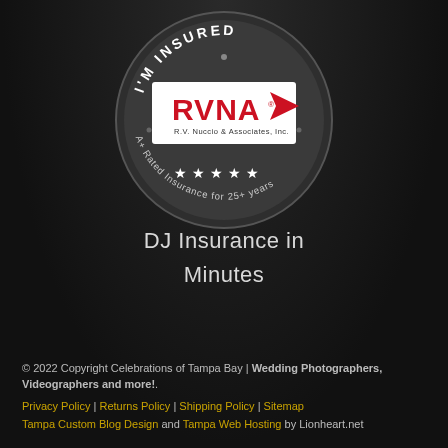[Figure (logo): RVNA (R.V. Nuccio & Associates, Inc.) circular badge with 'I'M INSURED' text at top, RVNA logo with red flag in white rectangle center, stars around bottom, and 'A+ Rated Insurance for 25+ years' text around outer ring]
DJ Insurance in Minutes
© 2022 Copyright Celebrations of Tampa Bay | Wedding Photographers, Videographers and more!. Privacy Policy | Returns Policy | Shipping Policy | Sitemap Tampa Custom Blog Design and Tampa Web Hosting by Lionheart.net